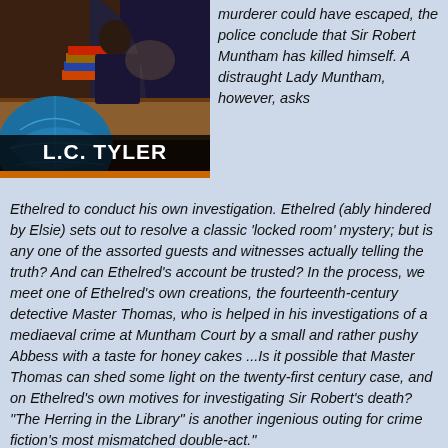[Figure (illustration): Book cover illustration showing a figure at a desk with books and a globe, with the author name 'L.C. TYLER' displayed on a dark banner]
murderer could have escaped, the police conclude that Sir Robert Muntham has killed himself. A distraught Lady Muntham, however, asks Ethelred to conduct his own investigation. Ethelred (ably hindered by Elsie) sets out to resolve a classic 'locked room' mystery; but is any one of the assorted guests and witnesses actually telling the truth? And can Ethelred's account be trusted? In the process, we meet one of Ethelred's own creations, the fourteenth-century detective Master Thomas, who is helped in his investigations of a mediaeval crime at Muntham Court by a small and rather pushy Abbess with a taste for honey cakes ...Is it possible that Master Thomas can shed some light on the twenty-first century case, and on Ethelred's own motives for investigating Sir Robert's death? "The Herring in the Library" is another ingenious outing for crime fiction's most mismatched double-act."
It's no coincidence that the covers have some resemblance in style to fellow-Last Laugh nominee Malcolm Pryce's Aberystwyth Noir series: